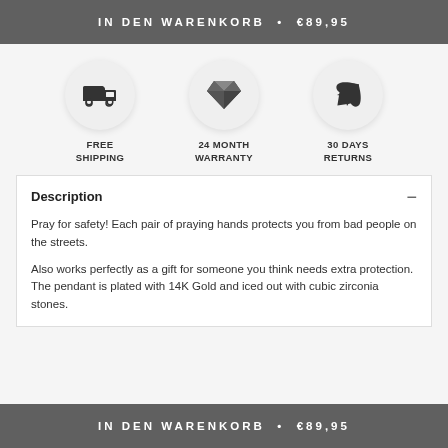IN DEN WARENKORB • €89,95
[Figure (infographic): Three circular icons representing: 1) Free Shipping (truck icon), 2) 24 Month Warranty (diamond icon), 3) 30 Days Returns (airplane icon)]
Description
Pray for safety! Each pair of praying hands protects you from bad people on the streets.
Also works perfectly as a gift for someone you think needs extra protection. The pendant is plated with 14K Gold and iced out with cubic zirconia stones.
IN DEN WARENKORB • €89,95